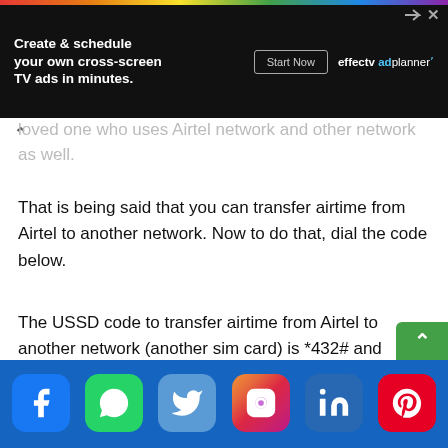[Figure (other): Advertisement banner: 'Create & schedule your own cross-screen TV ads in minutes.' with 'Start Now' button and 'effectv adplanner' logo on dark background]
loved one who uses Airtel network and other network as well.
That is being said that you can transfer airtime from Airtel to another network. Now to do that, dial the code below.
The USSD code to transfer airtime from Airtel to another network (another sim card) is *432# and below is the procedure for how to use it correctly.
[Figure (other): Social media share buttons row: Facebook, WhatsApp, Twitter, Instagram, LinkedIn, Pinterest]